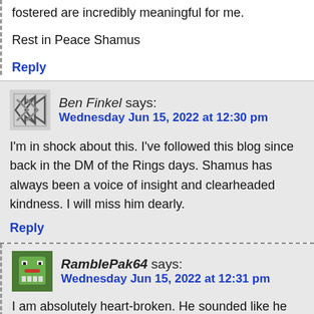fostered are incredibly meaningful for me.
Rest in Peace Shamus
Reply
Ben Finkel says:
Wednesday Jun 15, 2022 at 12:30 pm
I'm in shock about this. I've followed this blog since back in the DM of the Rings days. Shamus has always been a voice of insight and clearheaded kindness. I will miss him dearly.
Reply
RamblePak64 says:
Wednesday Jun 15, 2022 at 12:31 pm
I am absolutely heart-broken. He sounded like he was